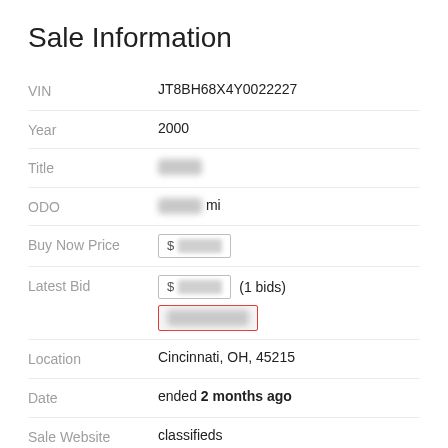Sale Information
| Field | Value |
| --- | --- |
| VIN | JT8BH68X4Y0022227 |
| Year | 2000 |
| Title | [redacted] |
| ODO | [redacted] mi |
| Buy Now Price | $ [redacted] |
| Latest Bid | $ [redacted] (1 bids) / [redacted] |
| Location | Cincinnati, OH, 45215 |
| Date | ended 2 months ago |
| Sale Website Type | classifieds |